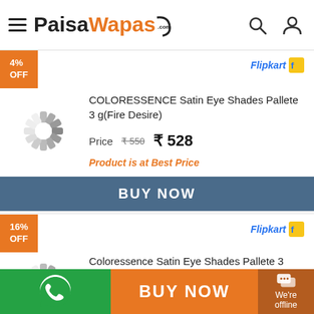PaisaWapas.com
4% OFF
[Figure (logo): Flipkart logo with blue text and orange bag icon]
COLORESSENCE Satin Eye Shades Pallete 3 g(Fire Desire)
Price  ₹550  ₹528
Product is at Best Price
BUY NOW
16% OFF
[Figure (logo): Flipkart logo with blue text and orange bag icon]
Coloressence Satin Eye Shades Pallete 3 g(Eathy Tones)
Price  ₹610  ₹510
BUY NOW